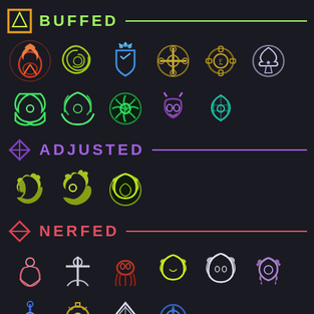BUFFED
[Figure (infographic): Grid of 11 glowing game ability/trait icons in the BUFFED category. Row 1: red phoenix/flame icon, yellow-green swirl icon, blue crowned shield icon, gold ornate cross icon, gold mechanical icon, white/silver ace of spades style icon. Row 2: green swirl 1, green swirl 2, dark green flower/thorns icon, purple demon head icon, teal leaf/plant icon.]
ADJUSTED
[Figure (infographic): Row of 3 glowing game trait icons in the ADJUSTED category. All three are yellow-green glowing animal/beast icons with similar dragon or lion shapes.]
NERFED
[Figure (infographic): Grid of game trait icons in the NERFED category. Row 1: white/pink humanoid icon, white cross/anchor icon, red octopus/squid icon, yellow-green beast icon, white beast icon, purple/lavender floral icon. Row 2 (partial): blue cross icon, yellow gear/mechanical icon, white diamond/crystal icon, blue circular icon.]